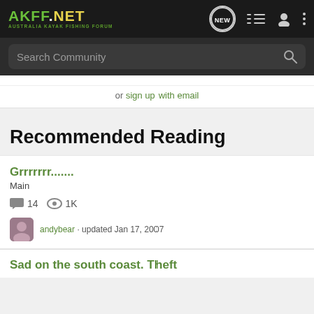AKFF.NET — Australia Kayak Fishing Forum
Search Community
or sign up with email
Recommended Reading
Grrrrrrr.......
Main
14 comments · 1K views
andybear · updated Jan 17, 2007
Sad on the south coast. Theft